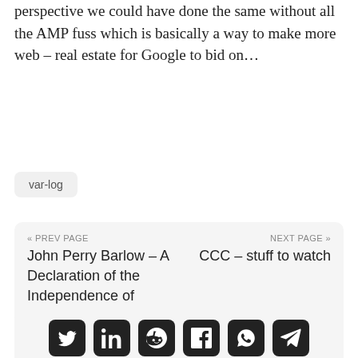perspective we could have done the same without all the AMP fuss which is basically a way to make more web – real estate for Google to bid on…
var-log
« PREV PAGE
John Perry Barlow – A Declaration of the Independence of Cyberspace
NEXT PAGE »
CCC – stuff to watch
[Figure (infographic): Social sharing icons row: Twitter, LinkedIn, Reddit, Facebook, WhatsApp, Telegram]